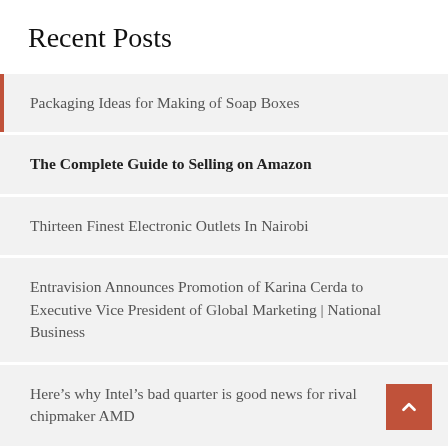Recent Posts
Packaging Ideas for Making of Soap Boxes
The Complete Guide to Selling on Amazon
Thirteen Finest Electronic Outlets In Nairobi
Entravision Announces Promotion of Karina Cerda to Executive Vice President of Global Marketing | National Business
Here’s why Intel’s bad quarter is good news for rival chipmaker AMD